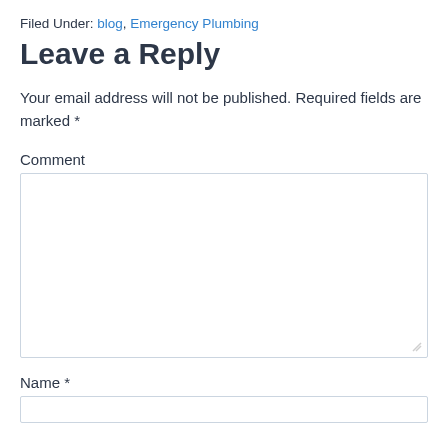Filed Under: blog, Emergency Plumbing
Leave a Reply
Your email address will not be published. Required fields are marked *
Comment
Name *